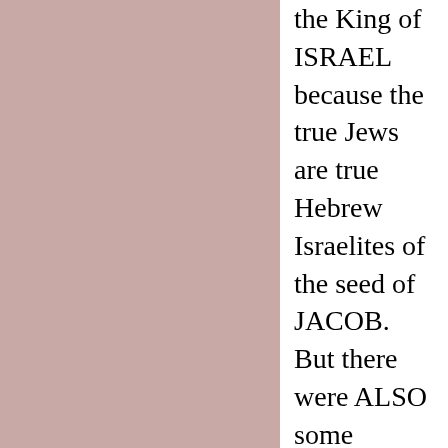the King of ISRAEL because the true Jews are true Hebrew Israelites of the seed of JACOB. But there were ALSO some